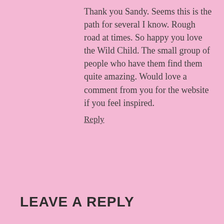Thank you Sandy. Seems this is the path for several I know. Rough road at times. So happy you love the Wild Child. The small group of people who have them find them quite amazing. Would love a comment from you for the website if you feel inspired.
Reply
LEAVE A REPLY